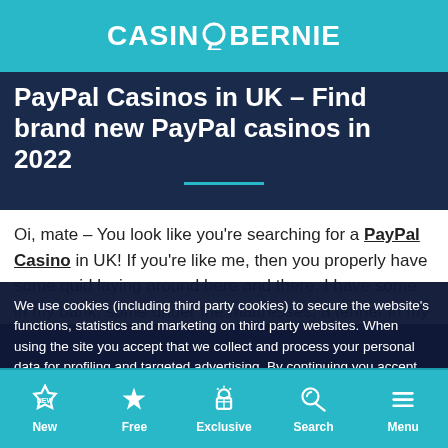CASINOBERNIE
PayPal Casinos in UK – Find brand new PayPal casinos in 2022
Oi, mate – You look like you're searching for a PayPal Casino in UK! If you're like me, then you properly have some quid laying around here and there. I have some in my bank, some under the mattresses, a tenner in my wallet and I've also started using a couple of so-called e-wallets, one of them being PayPal...
We use cookies (including third party cookies) to secure the website's functions, statistics and marketing on third party websites. When using the site you accept that we collect and process your personal data for profiling and targeted advertising. By continuing you accept our cookie- and privacy policies. Read more...
New | Free | Exclusive | Search | Menu